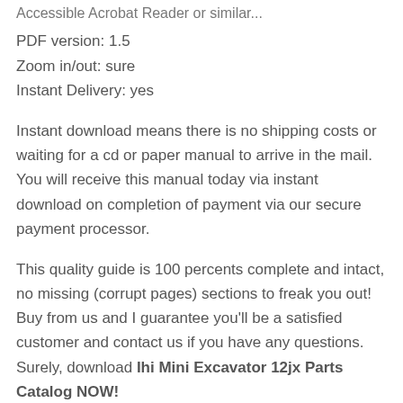PDF version: 1.5
PDF version: 1.5
Zoom in/out: sure
Instant Delivery: yes
Instant download means there is no shipping costs or waiting for a cd or paper manual to arrive in the mail. You will receive this manual today via instant download on completion of payment via our secure payment processor.
This quality guide is 100 percents complete and intact, no missing (corrupt pages) sections to freak you out! Buy from us and I guarantee you'll be a satisfied customer and contact us if you have any questions. Surely, download Ihi Mini Excavator 12jx Parts Catalog NOW!